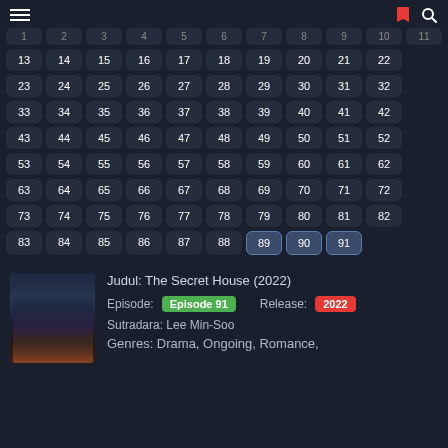Navigation header with hamburger menu, bookmark and search icons
[Figure (other): Episode number grid showing episodes 1-91 as clickable buttons arranged in rows of 11]
Judul: The Secret House (2022)
Episode: Episode 91   Release: 2022
Sutradara: Lee Min-Soo
Genres: Drama, Ongoing, Romance,